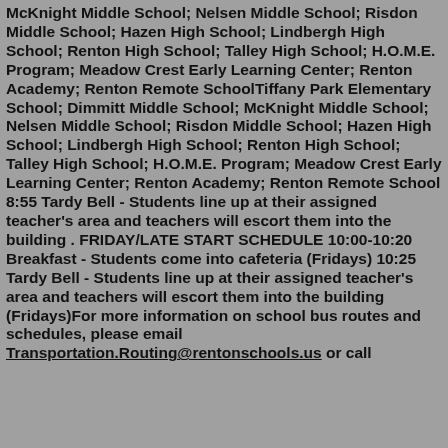McKnight Middle School; Nelsen Middle School; Risdon Middle School; Hazen High School; Lindbergh High School; Renton High School; Talley High School; H.O.M.E. Program; Meadow Crest Early Learning Center; Renton Academy; Renton Remote SchoolTiffany Park Elementary School; Dimmitt Middle School; McKnight Middle School; Nelsen Middle School; Risdon Middle School; Hazen High School; Lindbergh High School; Renton High School; Talley High School; H.O.M.E. Program; Meadow Crest Early Learning Center; Renton Academy; Renton Remote School 8:55 Tardy Bell - Students line up at their assigned teacher's area and teachers will escort them into the building . FRIDAY/LATE START SCHEDULE 10:00-10:20 Breakfast - Students come into cafeteria (Fridays) 10:25 Tardy Bell - Students line up at their assigned teacher's area and teachers will escort them into the building (Fridays)For more information on school bus routes and schedules, please email Transportation.Routing@rentonschools.us or call